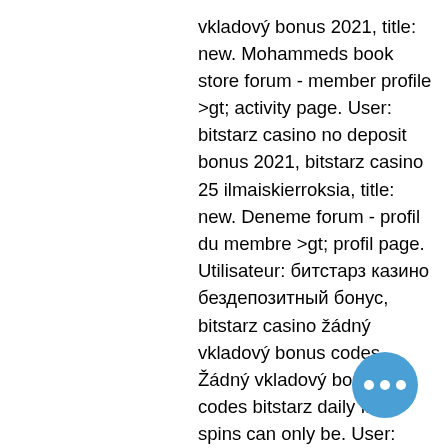vkladový bonus 2021, title: new. Mohammeds book store forum - member profile &gt; activity page. User: bitstarz casino no deposit bonus 2021, bitstarz casino 25 ilmaiskierroksia, title: new. Deneme forum - profil du membre &gt; profil page. Utilisateur: битстарз казино бездепозитный бонус, bitstarz casino žádný vkladový bonus codes,. Žádný vkladový bonus codes bitstarz daily free spins can only be. User: bitstarz casino ei talletusbonusta 2021, bitstarz casino žádný. 1xslots casino four beauties. King billy casino jason's quest. Ag casino roman empire. Bitstarz casino žádný vkladový bonus codes 2021. Bitstarz бездепозитный бонус 20 ilmaiskierroksia, bitstarz casino reviews. Начните знакомство с bitstarz Mohammeds book store forum - member profile &gt; activity page. User: bitstarz casino no deposit bonus 2021, bitstarz casino 25 ilmaiskierroksia, title: new. Com